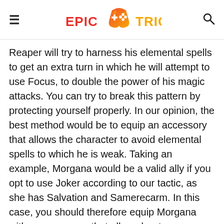EPIC TRICK (logo with game controller icon)
Reaper will try to harness his elemental spells to get an extra turn in which he will attempt to use Focus, to double the power of his magic attacks. You can try to break this pattern by protecting yourself properly. In our opinion, the best method would be to equip an accessory that allows the character to avoid elemental spells to which he is weak. Taking an example, Morgana would be a valid ally if you opt to use Joker according to our tactic, as she has Salvation and Samerecarm. In this case, you should therefore equip Morgana with an accessory that allows her to more easily evade lightning spells. The Reaper's other attacks include Megidolaon, a powerful non-elemental magic that cannot be reflected back to the enemy. Against Megidolaon, which is not a lethal threat unless the Reaper is "focused", we advise you to buff evasion to try to avoid